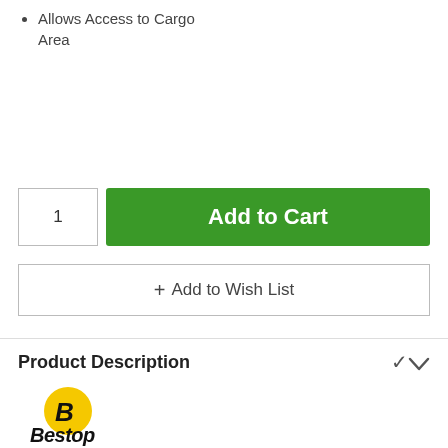Allows Access to Cargo Area
1
Add to Cart
+ Add to Wish List
Product Description
[Figure (logo): Bestop brand logo — yellow circle with bold black B, and 'Bestop' wordmark in bold black italic below]